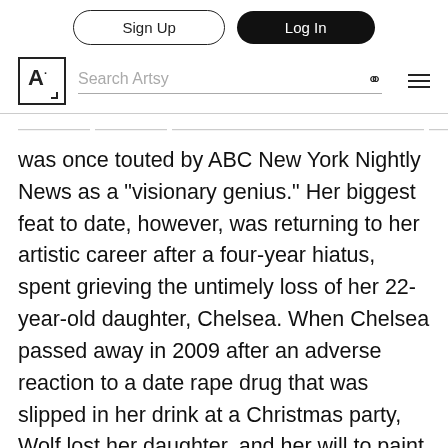Sign Up | Log In
A. Search Artsy
was once touted by ABC New York Nightly News as a “visionary genius.” Her biggest feat to date, however, was returning to her artistic career after a four-year hiatus, spent grieving the untimely loss of her 22-year-old daughter, Chelsea. When Chelsea passed away in 2009 after an adverse reaction to a date rape drug that was slipped in her drink at a Christmas party, Wolf lost her daughter, and her will to paint. With encouragement